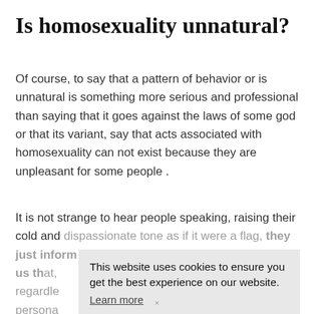Is homosexuality unnatural?
Of course, to say that a pattern of behavior or is unnatural is something more serious and professional than saying that it goes against the laws of some god or that its variant, say that acts associated with homosexuality can not exist because they are unpleasant for some people .
It is not strange to hear people speaking, raising their cold and dispassionate tone as if it were a flag, they just inform us that, [obscured by cookie banner] regardless [obscured] it's achieve personally [obscured] things are like that, the same form
This website uses cookies to ensure you get the best experience on our website. Learn more